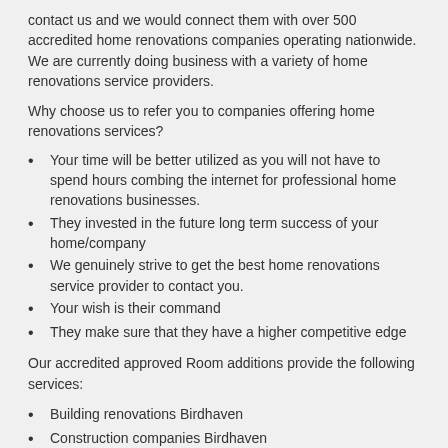contact us and we would connect them with over 500 accredited home renovations companies operating nationwide. We are currently doing business with a variety of home renovations service providers.
Why choose us to refer you to companies offering home renovations services?
Your time will be better utilized as you will not have to spend hours combing the internet for professional home renovations businesses.
They invested in the future long term success of your home/company
We genuinely strive to get the best home renovations service provider to contact you.
Your wish is their command
They make sure that they have a higher competitive edge
Our accredited approved Room additions provide the following services:
Building renovations Birdhaven
Construction companies Birdhaven
Home construction Birdhaven
Renovation companies Birdhaven
Room additions Birdhaven
Residential renovations Birdhaven
Bathroom renovators Birdhaven
Home improvements Birdhaven
Building alterations Birdhaven
Home renovation contractors Birdhaven
House construction Birdhaven